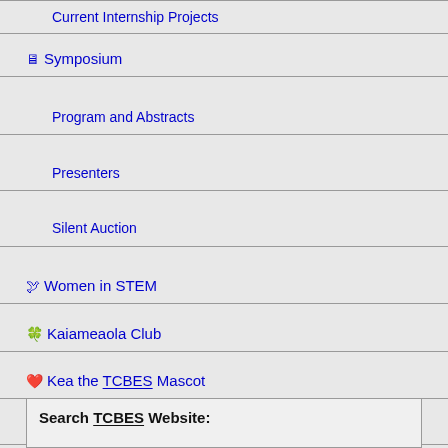Current Internship Projects
🖥 Symposium
Program and Abstracts
Presenters
Silent Auction
Women in STEM
Kaiameaola Club
Kea the TCBES Mascot
Graduate Admissions
M.S. TCBES in the Catalog
Search TCBES Website: